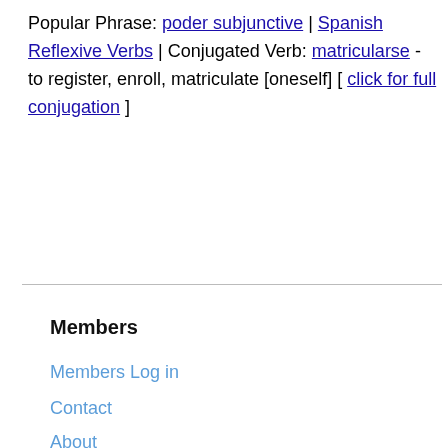Popular Phrase: poder subjunctive | Spanish Reflexive Verbs | Conjugated Verb: matricularse - to register, enroll, matriculate [oneself] [ click for full conjugation ]
Members
Members Log in
Contact
About
Help
Resources
Spanish Sentences by Example
Spanish Placement Test